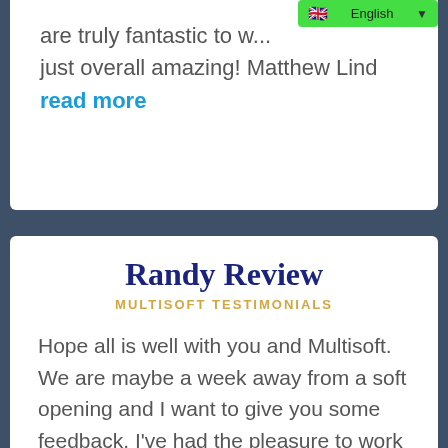are truly fantastic to w... just overall amazing! Matthew Lind
read more
Randy Review
MULTISOFT TESTIMONIALS
Hope all is well with you and Multisoft. We are maybe a week away from a soft opening and I want to give you some feedback. I've had the pleasure to work with most of your key people over the past few months and found everyone to be top notch and